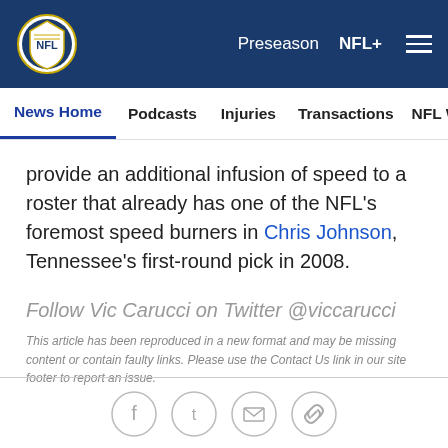NFL | Preseason | NFL+ | (menu)
News Home | Podcasts | Injuries | Transactions | NFL Writers | Se
provide an additional infusion of speed to a roster that already has one of the NFL's foremost speed burners in Chris Johnson, Tennessee's first-round pick in 2008.
Follow Vic Carucci on Twitter @viccarucci
This article has been reproduced in a new format and may be missing content or contain faulty links. Please use the Contact Us link in our site footer to report an issue.